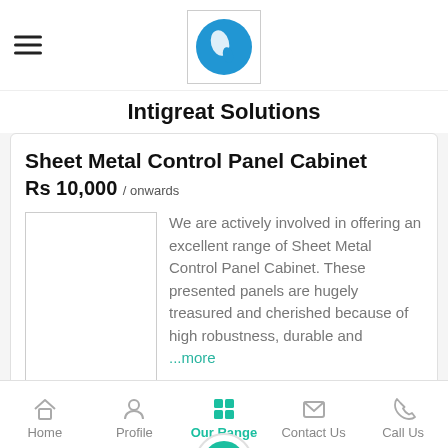Intigreat Solutions
Sheet Metal Control Panel Cabinet
Rs 10,000 / onwards
We are actively involved in offering an excellent range of Sheet Metal Control Panel Cabinet. These presented panels are hugely treasured and cherished because of high robustness, durable and ...more
Home | Profile | Our Range | Contact Us | Call Us